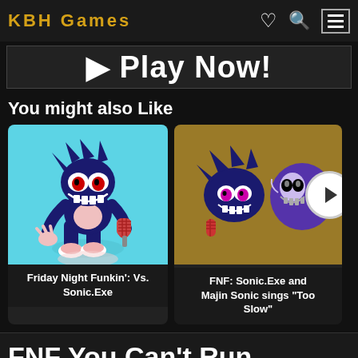KBH Games
▶ Play Now!
You might also Like
[Figure (illustration): Game card: Friday Night Funkin': Vs. Sonic.Exe — cartoon illustration of Sonic.Exe character on cyan background holding a microphone]
Friday Night Funkin': Vs. Sonic.Exe
[Figure (illustration): Game card: FNF: Sonic.Exe and Majin Sonic sings 'Too Slow' — two Sonic.Exe characters on golden/brown background]
FNF: Sonic.Exe and Majin Sonic sings "Too Slow"
FNF You Can't Run